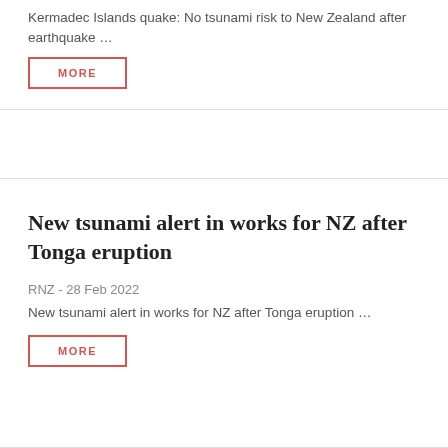Kermadec Islands quake: No tsunami risk to New Zealand after earthquake …
MORE
New tsunami alert in works for NZ after Tonga eruption
RNZ - 28 Feb 2022
New tsunami alert in works for NZ after Tonga eruption …
MORE